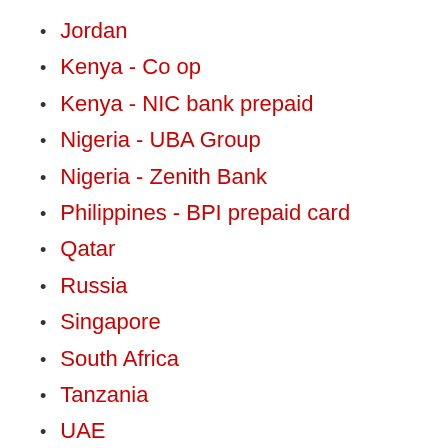Jordan
Kenya - Co op
Kenya - NIC bank prepaid
Nigeria - UBA Group
Nigeria - Zenith Bank
Philippines - BPI prepaid card
Qatar
Russia
Singapore
South Africa
Tanzania
UAE
UK